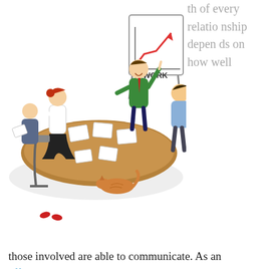[Figure (illustration): Cartoon illustration of a business meeting. A man in a green suit stands at a whiteboard labeled 'WORK' with a rising red arrow chart, pointing upward. Around an oval brown table sit four colleagues with papers. An orange cat sleeps under the table.]
th of every relationship depends on how well those involved are able to communicate. As an effective business leader, the clearer you are when communicating, the clearer your expectations will be. It is very difficult for employees to feel disengaged if they have clearly set goals. In addition, you can easily increase motivation in the workplace if you practice face-to-face communication with your employees as often as you can. Obviously, there is convenience involved with email. However, speaking to your employees or team members every day will make them feel more involved and motivated.